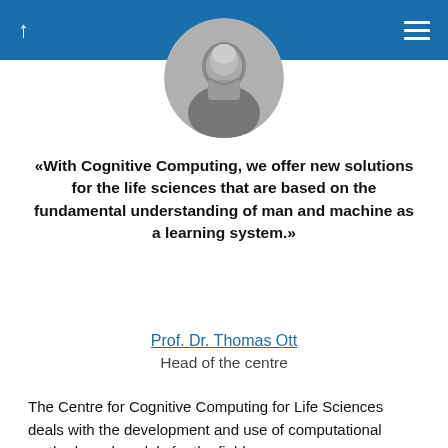↑  ☰
[Figure (photo): Circular cropped headshot of a man in a suit, black and white photo]
«With Cognitive Computing, we offer new solutions for the life sciences that are based on the fundamental understanding of man and machine as a learning system.»
Prof. Dr. Thomas Ott
Head of the centre
The Centre for Cognitive Computing for Life Sciences deals with the development and use of computational methods and models for the field